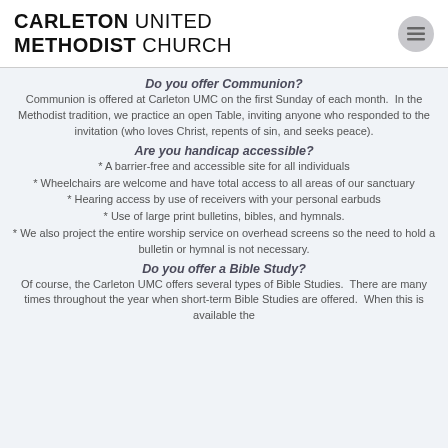CARLETON UNITED METHODIST CHURCH
Do you offer Communion?
Communion is offered at Carleton UMC on the first Sunday of each month.  In the Methodist tradition, we practice an open Table, inviting anyone who responded to the invitation (who loves Christ, repents of sin, and seeks peace).
Are you handicap accessible?
* A barrier-free and accessible site for all individuals
* Wheelchairs are welcome and have total access to all areas of our sanctuary
* Hearing access by use of receivers with your personal earbuds
* Use of large print bulletins, bibles, and hymnals.
* We also project the entire worship service on overhead screens so the need to hold a bulletin or hymnal is not necessary.
Do you offer a Bible Study?
Of course, the Carleton UMC offers several types of Bible Studies.  There are many times throughout the year when short-term Bible Studies are offered.  When this is available the